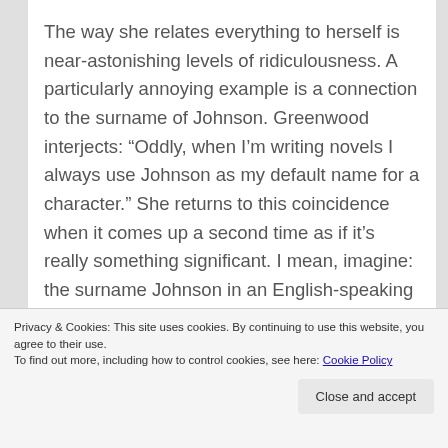The way she relates everything to herself is near-astonishing levels of ridiculousness. A particularly annoying example is a connection to the surname of Johnson. Greenwood interjects: “Oddly, when I’m writing novels I always use Johnson as my default name for a character.” She returns to this coincidence when it comes up a second time as if it’s really something significant. I mean, imagine: the surname Johnson in an English-speaking country. Uncanny! She doesn’t pursue any theoretical line about it either.
Privacy & Cookies: This site uses cookies. By continuing to use this website, you agree to their use.
To find out more, including how to control cookies, see here: Cookie Policy
Close and accept